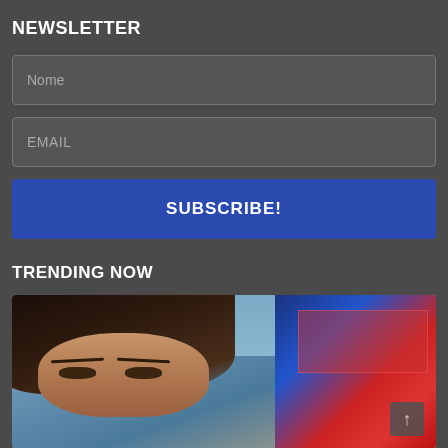NEWSLETTER
Nome
EMAIL
SUBSCRIBE!
TRENDING NOW
[Figure (photo): A person with long dark hair looking at the camera (left portion), and a colorful mural/banner visible on the right side of the image.]